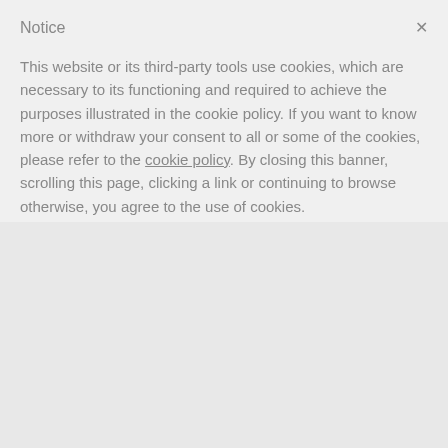Notice
This website or its third-party tools use cookies, which are necessary to its functioning and required to achieve the purposes illustrated in the cookie policy. If you want to know more or withdraw your consent to all or some of the cookies, please refer to the cookie policy.
By closing this banner, scrolling this page, clicking a link or continuing to browse otherwise, you agree to the use of cookies.